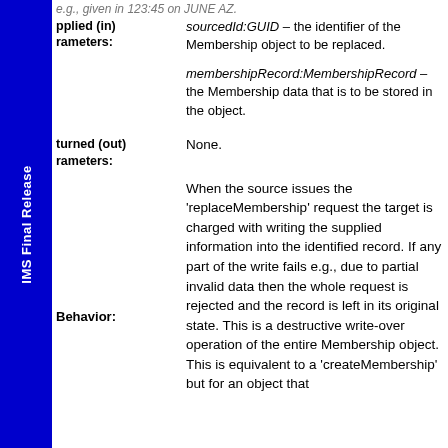IMS Final Release
sourcedId:GUID – the identifier of the Membership object to be replaced.
Supplied (in) Parameters:
membershipRecord:MembershipRecord – the Membership data that is to be stored in the object.
Returned (out) Parameters:
None.
Behavior:
When the source issues the 'replaceMembership' request the target is charged with writing the supplied information into the identified record. If any part of the write fails e.g., due to partial invalid data then the whole request is rejected and the record is left in its original state. This is a destructive write-over operation of the entire Membership object. This is equivalent to a 'createMembership' but for an object that